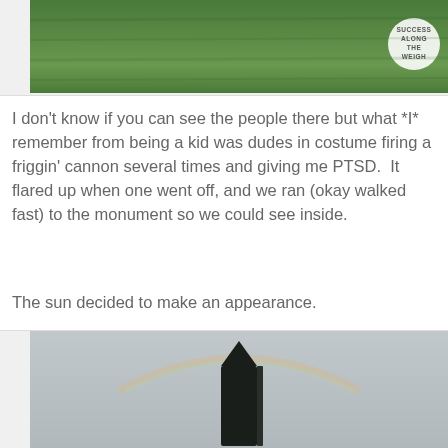[Figure (photo): Photograph of a green grassy field/lawn. A circular logo watermark in the top right reads 'SUCCESS ALONG THE WEIGH']
I don't know if you can see the people there but what *I* remember from being a kid was dudes in costume firing a friggin' cannon several times and giving me PTSD.  It flared up when one went off, and we ran (okay walked fast) to the monument so we could see inside.
The sun decided to make an appearance.
[Figure (photo): Photograph of a dark monument/obelisk silhouetted against a grey overcast sky with a faint rainbow arc visible above it.]